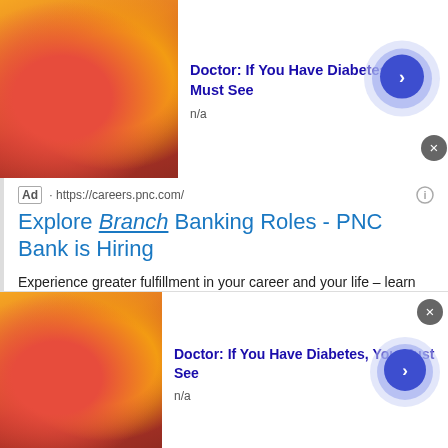[Figure (screenshot): Top advertisement banner with food/gummy candy image, title 'Doctor: If You Have Diabetes, You Must See', n/a text, circular arrow button, and close X button]
Ad · https://careers.pnc.com/
Explore Branch Banking Roles - PNC Bank is Hiring
Experience greater fulfillment in your career and your life – learn more and apply today. We're adding to our team of finance...
43315 Crandall Square, Ashburn, VA
Students & Graduates
Search Jobs
This site uses cookies and other similar technologies to provide site functionality, analyze traffic and usage, and
[Figure (screenshot): Bottom advertisement banner with food/gummy candy image, title 'Doctor: If You Have Diabetes, You Must See', n/a text, circular arrow button, and close X button]